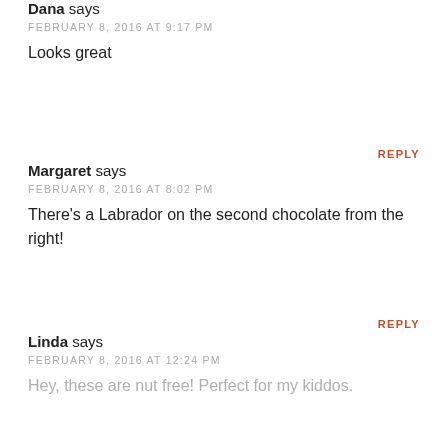Dana says
FEBRUARY 8, 2016 AT 9:17 PM
Looks great
REPLY
Margaret says
FEBRUARY 8, 2016 AT 8:02 PM
There's a Labrador on the second chocolate from the right!
REPLY
Linda says
FEBRUARY 8, 2016 AT 12:24 PM
Hey, these are nut free! Perfect for my kiddos.